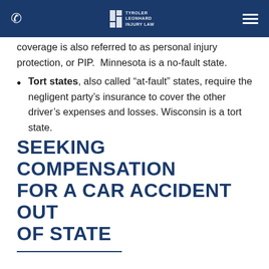Tyroler Leonhard Injury Law navigation bar
coverage is also referred to as personal injury protection, or PIP.  Minnesota is a no-fault state.
Tort states, also called “at-fault” states, require the negligent party’s insurance to cover the other driver’s expenses and losses. Wisconsin is a tort state.
SEEKING COMPENSATION FOR A CAR ACCIDENT OUT OF STATE